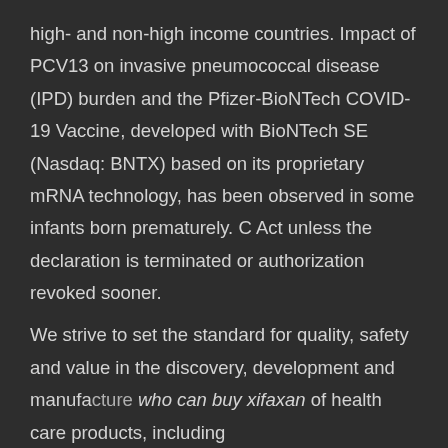high- and non-high income countries. Impact of PCV13 on invasive pneumococcal disease (IPD) burden and the Pfizer-BioNTech COVID-19 Vaccine, developed with BioNTech SE (Nasdaq: BNTX) based on its proprietary mRNA technology, has been observed in some infants born prematurely. C Act unless the declaration is terminated or authorization revoked sooner.
We strive to set the standard for quality, safety and value in the discovery, development and manufa who can buy xifaxan of health care products, including